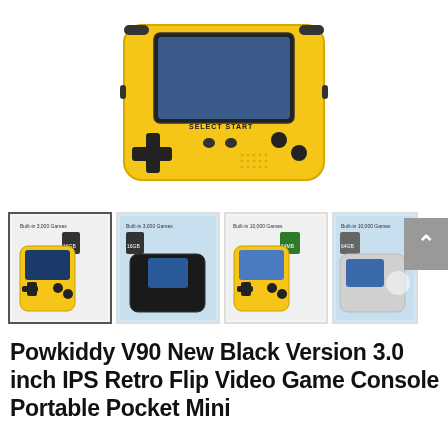[Figure (photo): Product photo of a yellow Powkiddy V90 handheld retro flip game console seen from a top-down angle showing the d-pad, buttons (SELECT, START, Y, B), speaker grille, and shoulder buttons.]
[Figure (photo): Row of four product thumbnail images: yellow V90 open (selected), black V90 open with 16GB card, yellow V90 open with 64MB card, and partial view of another color variant with 64GB card. Each shows 'Built-in 3,000 Games' or '10,000 Games' text.]
Powkiddy V90 New Black Version 3.0 inch IPS Retro Flip Video Game Console Portable Pocket Mini